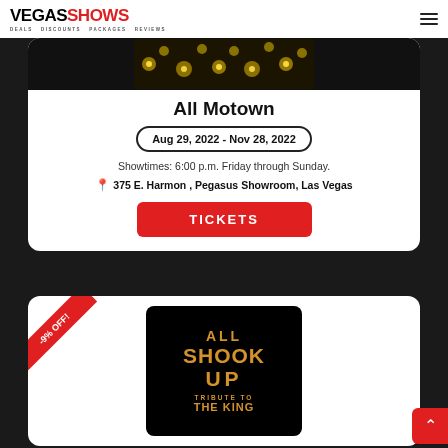VEGASSHOWS DEALS DISCOUNTS PACKAGES REVIEWS
[Figure (photo): Partially visible show image with dark background and gold bokeh lights]
All Motown
Aug 29, 2022 - Nov 28, 2022
Showtimes: 6:00 p.m. Friday through Sunday.
375 E. Harmon , Pegasus Showroom, Las Vegas
TICKETS
[Figure (logo): All Shook Up Tribute to The King show logo on black background with gold text and Elvis silhouette]
-9% OFF!